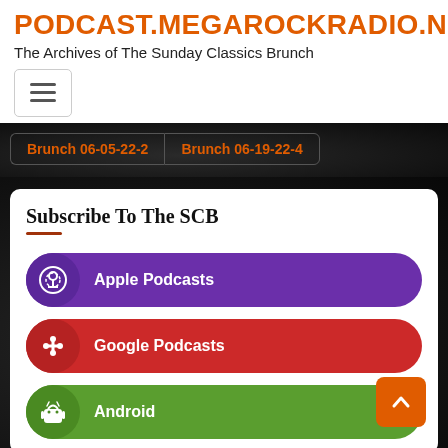PODCAST.MEGAROCKRADIO.NET
The Archives of The Sunday Classics Brunch
[Figure (other): Hamburger menu button icon]
Brunch 06-05-22-2
Brunch 06-19-22-4
Subscribe To The SCB
Apple Podcasts
Google Podcasts
Android